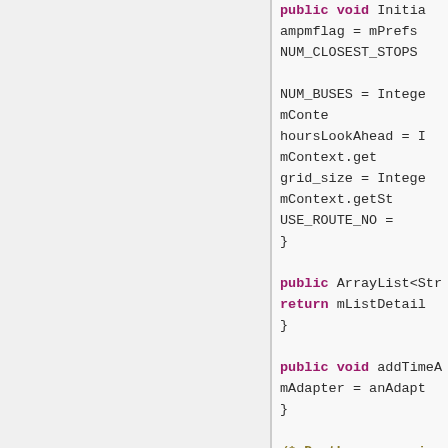[Figure (screenshot): Code editor screenshot showing Java/Android source code with syntax highlighting. Left panel is light grey (empty). Right panel shows code with keywords in bold dark pink/magenta (public, void, return, class, static, final) and regular code in dark grey, on a light grey background.]